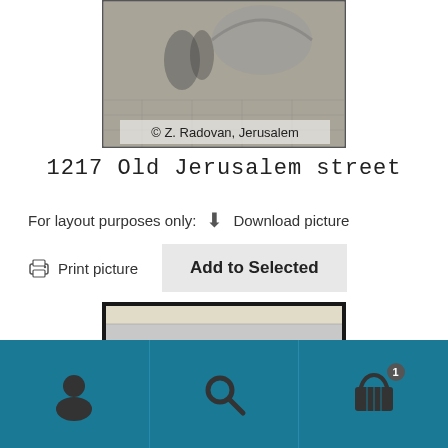[Figure (photo): Black and white photograph of an old Jerusalem street scene with people, watermarked '© Z. Radovan, Jerusalem']
1217 Old Jerusalem street
For layout purposes only:  Download picture
Print picture   Add to Selected
[Figure (photo): Partial photograph of a document or image, showing beige and grey tones, cropped]
[Figure (other): Bottom navigation bar with three icons: person/user icon, search/magnifying glass icon, and shopping basket icon with badge showing '1']